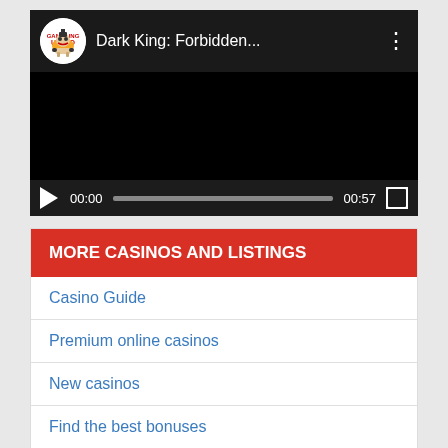[Figure (screenshot): YouTube-style video player showing 'Dark King: Forbidden...' with a Gambling Bulldog channel logo, black video area, and controls showing 00:00 / 00:57]
MORE CASINOS AND LISTINGS
Casino Guide
Premium online casinos
New casinos
Find the best bonuses
Online Bookmakers and Bonuses
Mobile Casinos UK